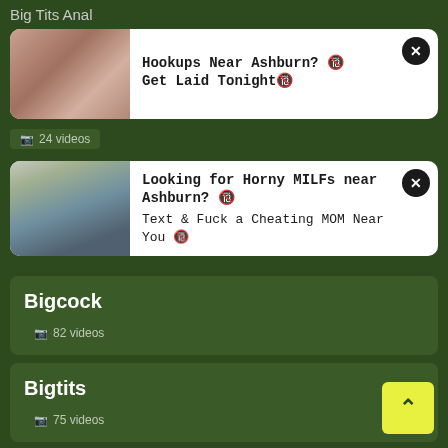Big Tits Anal
[Figure (screenshot): Ad card 1: Hookups Near Ashburn? Get Laid Tonight]
📷 24 videos
[Figure (screenshot): Ad card 2: Looking for Horny MILFs near Ashburn? Text & Fuck a Cheating MOM Near You]
Bigcock
📷 82 videos
Bigtits
📷 75 videos